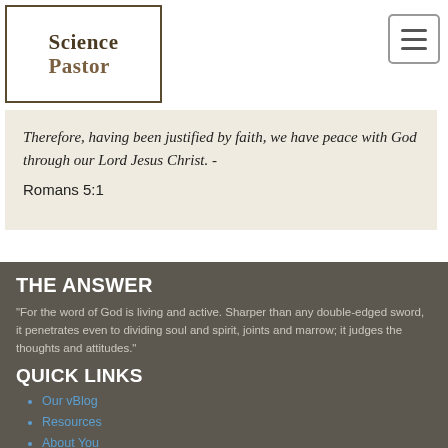SciencePastor
believe this, trusting that Jesus truly did die in your
Therefore, having been justified by faith, we have
"Therefore, having been justified by faith, we have peace with God through our Lord Jesus Christ." - Romans 5:1
THE ANSWER
"For the word of God is living and active. Sharper than any double-edged sword, it penetrates even to dividing soul and spirit, joints and marrow; it judges the thoughts and attitudes."
QUICK LINKS
Our vBlog
Resources
About You
Contact us